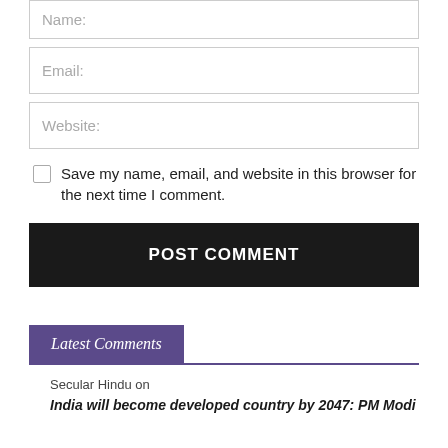Name:
Email:
Website:
Save my name, email, and website in this browser for the next time I comment.
POST COMMENT
Latest Comments
Secular Hindu on
India will become developed country by 2047: PM Modi